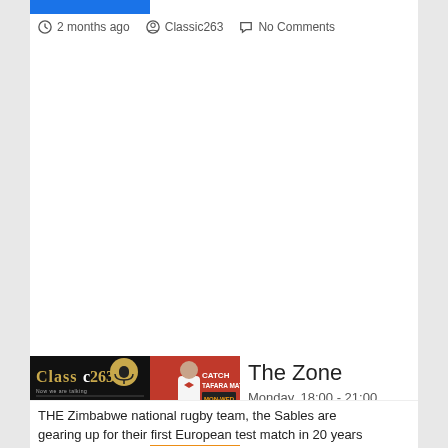2 months ago   Classic263   No Comments
[Figure (screenshot): White empty content area, part of a web article page]
[Figure (logo): Classic 263 radio station logo with microphone icon and 'Listen Live Click Here' button]
[Figure (photo): Promotional image for 'The Zone' show with Tafara Matura in red background with the text CATCH TAFARA MATURA MON-WED]
The Zone
Monday, 18:00 - 21:00
THE Zimbabwe national rugby team, the Sables are gearing up for their first European test match in 20 years